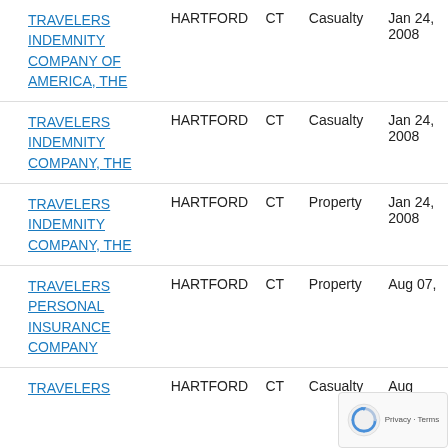| Company | City | State | Type | Date |
| --- | --- | --- | --- | --- |
| TRAVELERS INDEMNITY COMPANY OF AMERICA, THE | HARTFORD | CT | Casualty | Jan 24, 2008 |
| TRAVELERS INDEMNITY COMPANY, THE | HARTFORD | CT | Casualty | Jan 24, 2008 |
| TRAVELERS INDEMNITY COMPANY, THE | HARTFORD | CT | Property | Jan 24, 2008 |
| TRAVELERS PERSONAL INSURANCE COMPANY | HARTFORD | CT | Property | Aug 07, |
| TRAVELERS | HARTFORD | CT | Casualty | Aug |